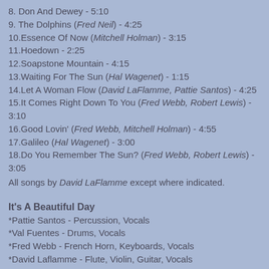8. Don And Dewey - 5:10
9. The Dolphins (Fred Neil) - 4:25
10.Essence Of Now (Mitchell Holman) - 3:15
11.Hoedown - 2:25
12.Soapstone Mountain - 4:15
13.Waiting For The Sun (Hal Wagenet) - 1:15
14.Let A Woman Flow (David LaFlamme, Pattie Santos) - 4:25
15.It Comes Right Down To You (Fred Webb, Robert Lewis) - 3:10
16.Good Lovin' (Fred Webb, Mitchell Holman) - 4:55
17.Galileo (Hal Wagenet) - 3:00
18.Do You Remember The Sun? (Fred Webb, Robert Lewis) - 3:05
All songs by David LaFlamme except where indicated.
It's A Beautiful Day
*Pattie Santos - Percussion, Vocals
*Val Fuentes - Drums, Vocals
*Fred Webb - French Horn, Keyboards, Vocals
*David Laflamme - Flute, Violin, Guitar, Vocals
*Mitchell Holman - Bass, Harmonica, Vocals